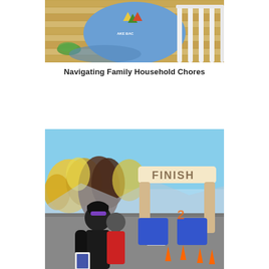[Figure (photo): Child in blue t-shirt leaning over a white crib, viewed from above, with wooden floor visible]
Navigating Family Household Chores
[Figure (photo): Person crossing or standing near a race finish line arch with FINISH text, autumn trees with yellow and orange foliage in background, blue sky, orange traffic cones, blue inflatable arch structure]
[Figure (other): Heart/like button (teal circle with heart icon) with count of 1 below it, and a share button below that]
1